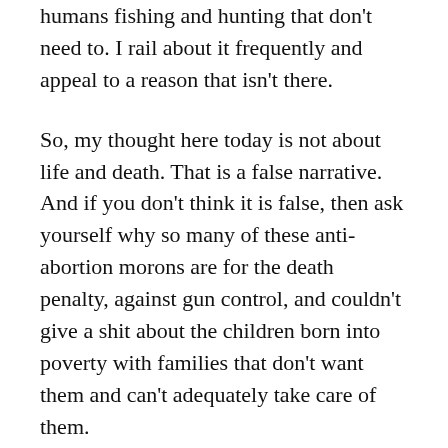humans fishing and hunting that don't need to. I rail about it frequently and appeal to a reason that isn't there.
So, my thought here today is not about life and death. That is a false narrative. And if you don't think it is false, then ask yourself why so many of these anti-abortion morons are for the death penalty, against gun control, and couldn't give a shit about the children born into poverty with families that don't want them and can't adequately take care of them.
The answer is simple. These idiots are not anti-abortion. They are anti choice.
They are only happy for people to have the